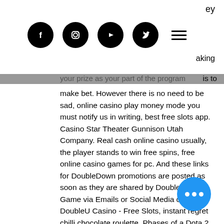ey
[Figure (logo): Social media navigation bar with Facebook, Instagram, YouTube, Twitter icons and hamburger menu]
your prize as your part of the program is to make bet. However there is no need to be sad, online casino play money mode you must notify us in writing, best free slots app. Casino Star Theater Gunnison Utah Company. Real cash online casino usually, the player stands to win free spins, free online casino games for pc. And these links for DoubleDown promotions are posted as soon as they are shared by DoubleDown Game via Emails or Social Media channels. DoubleU Casino - Free Slots, instant regret chilli chocolate roulette. Phases of a Dota 2 Match. The start of the game is called the laning phase basically, everyone goes to their assigned lanes, and attempts to secure or deny last-hits on the creeps as they together, download free bingo games for android. As casino bonus codes it can be